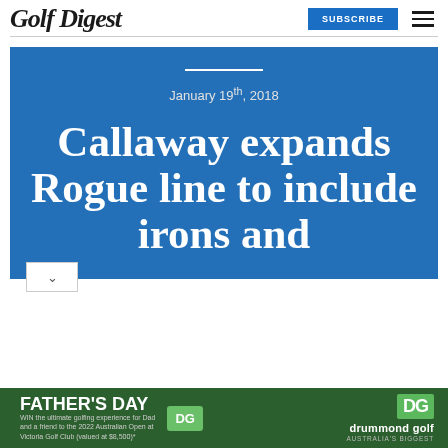Golf Digest
January 19th, 2018
Callaway expands Rogue line to include irons and
[Figure (other): Father's Day advertisement for Drummond Golf featuring a promotion to win the ultimate golfing experience for Dad and a friend to the 2022 Australian Open at Victoria Golf Club (valued at $8,500)]